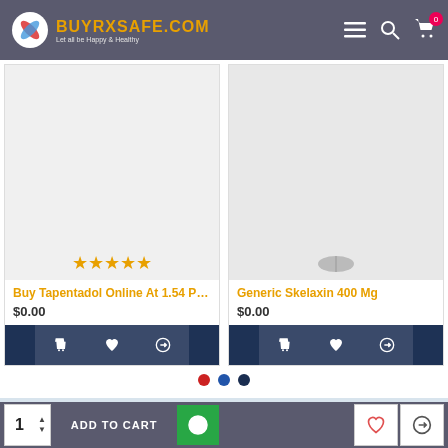[Figure (screenshot): BuyRxSafe.com website header with logo, hamburger menu, search, and cart icons]
Buy Tapentadol Online At 1.54 Per T...
$0.00
Generic Skelaxin 400 Mg
$0.00
24X7 SERVICE
All your queries would be answered immediately by our support team.
WORLDWIDE SHIPPING
ADD TO CART